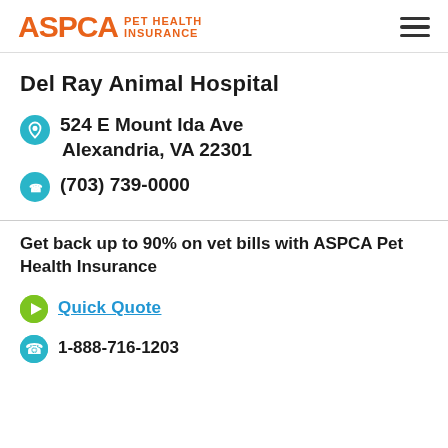ASPCA PET HEALTH INSURANCE
Del Ray Animal Hospital
524 E Mount Ida Ave
Alexandria, VA 22301
(703) 739-0000
Get back up to 90% on vet bills with ASPCA Pet Health Insurance
Quick Quote
1-888-716-1203